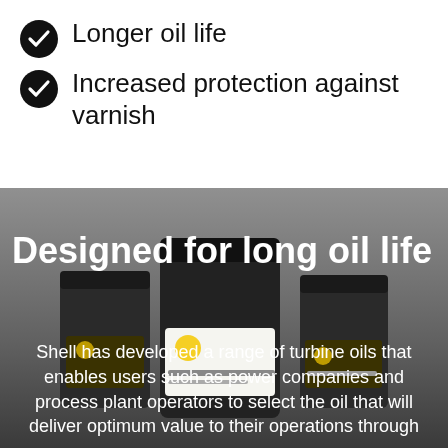Longer oil life
Increased protection against varnish
[Figure (photo): Dark background photo of Shell turbine oil containers/cans arranged together, showing Shell branded labels]
Designed for long oil life
Shell has developed a range of turbine oils that enables users such as power companies and process plant operators to select the oil that will deliver optimum value to their operations through